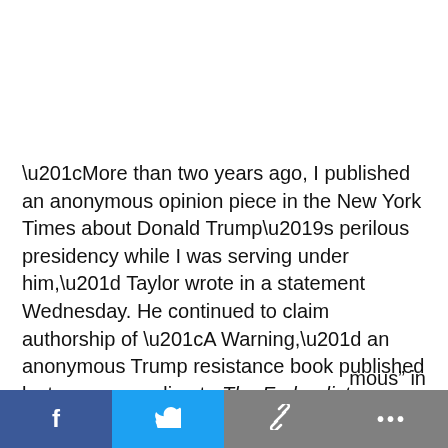“More than two years ago, I published an anonymous opinion piece in the New York Times about Donald Trump’s perilous presidency while I was serving under him,” Taylor wrote in a statement Wednesday. He continued to claim authorship of “A Warning,” an anonymous Trump resistance book published last year, according to The Federalist.
Taylor, who joined CNN as a paid contributor in … “…mous” in
[Figure (other): Social sharing bar with Facebook, Twitter, link, and more (…) buttons]